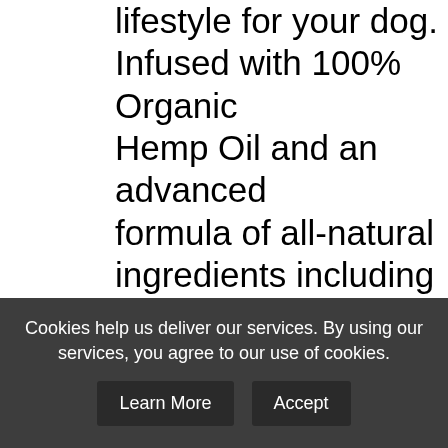lifestyle for your dog. Infused with 100% Organic Hemp Oil and an advanced formula of all-natural ingredients including Organic Turmeric, Glucosamine, MSM, and Green Lipped Mussel developed to specifically target Hips & Joints and to ease joint discomfort and inflammation SAFE AND EFFECTIVE. MADE IN THE USA. All Hemp Chewz Hip & Joint ingredients are
[Figure (other): Social media share buttons sidebar: Facebook (blue), Twitter (light blue), Pinterest (red), Tumblr (dark blue), Share/Plus (blue)]
Cookies help us deliver our services. By using our services, you agree to our use of cookies.